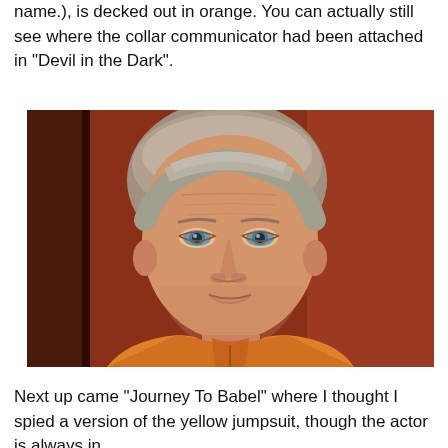name.), is decked out in orange. You can actually still see where the collar communicator had been attached in "Devil in the Dark".
[Figure (photo): A middle-aged man with grey-blond hair and blue eyes wearing an orange Star Trek uniform shirt, photographed against a reddish-brown background.]
Next up came "Journey To Babel" where I thought I spied a version of the yellow jumpsuit, though the actor is always in